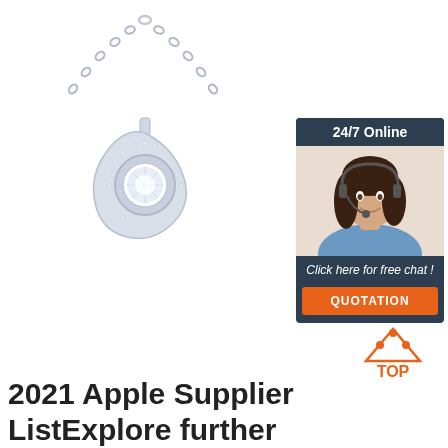[Figure (photo): Silver diamond flower necklace pendant with chain on white background]
[Figure (infographic): 24/7 Online chat widget with a smiling woman wearing headset, dark navy background, 'Click here for free chat!' text, and orange QUOTATION button]
[Figure (logo): TOP badge logo with orange triangle dots and TOP text in orange]
2021 Apple Supplier ListExplore further